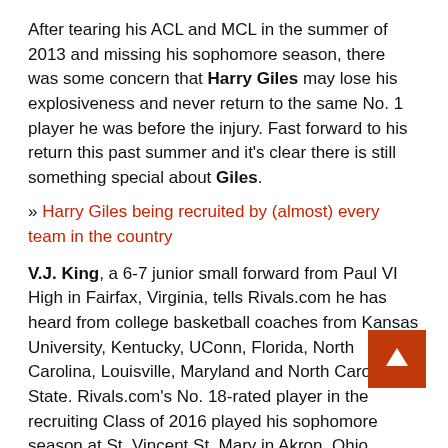After tearing his ACL and MCL in the summer of 2013 and missing his sophomore season, there was some concern that Harry Giles may lose his explosiveness and never return to the same No. 1 player he was before the injury. Fast forward to his return this past summer and it's clear there is still something special about Giles.
» Harry Giles being recruited by (almost) every team in the country
V.J. King, a 6-7 junior small forward from Paul VI High in Fairfax, Virginia, tells Rivals.com he has heard from college basketball coaches from Kansas University, Kentucky, UConn, Florida, North Carolina, Louisville, Maryland and North Carolina State. Rivals.com's No. 18-rated player in the recruiting Class of 2016 played his sophomore season at St. Vincent St. Mary in Akron, Ohio.
» Junior forward King likes KU